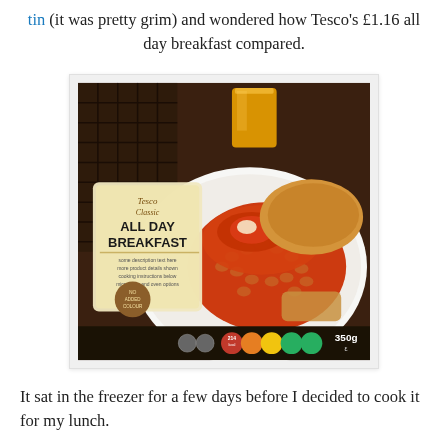tin (it was pretty grim) and wondered how Tesco's £1.16 all day breakfast compared.
[Figure (photo): Photo of Tesco Classic All Day Breakfast frozen meal package (350g), showing beans, eggs, sausages, and bread on a plate with orange juice in background. Nutritional information and product badges visible on the bottom of the box.]
It sat in the freezer for a few days before I decided to cook it for my lunch.